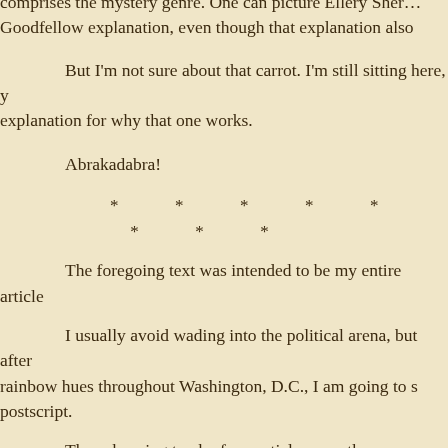comprises the mystery genre. One can picture Ellery Queen's Goodfellow explanation, even though that explanation also
But I'm not sure about that carrot. I'm still sitting here, y explanation for why that one works.
Abrakadabra!
* * * * * * * *
The foregoing text was intended to be my entire article
I usually avoid wading into the political arena, but after rainbow hues throughout Washington, D.C., I am going to s postscript.
Those keeping track of my articles over the years may many with set-up quotes. (See, e.g., above!) This time I'd li
The theme today has been the distinction between ma often that which is beyond our abilities to explain is labele